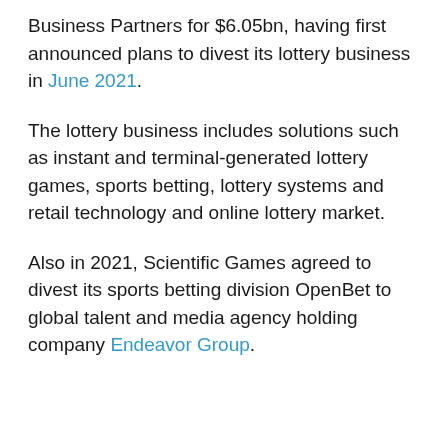Business Partners for $6.05bn, having first announced plans to divest its lottery business in June 2021.
The lottery business includes solutions such as instant and terminal-generated lottery games, sports betting, lottery systems and retail technology and online lottery market.
Also in 2021, Scientific Games agreed to divest its sports betting division OpenBet to global talent and media agency holding company Endeavor Group.